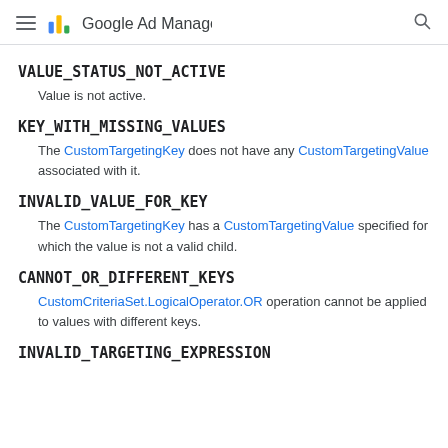Google Ad Manager
VALUE_STATUS_NOT_ACTIVE
Value is not active.
KEY_WITH_MISSING_VALUES
The CustomTargetingKey does not have any CustomTargetingValue associated with it.
INVALID_VALUE_FOR_KEY
The CustomTargetingKey has a CustomTargetingValue specified for which the value is not a valid child.
CANNOT_OR_DIFFERENT_KEYS
CustomCriteriaSet.LogicalOperator.OR operation cannot be applied to values with different keys.
INVALID_TARGETING_EXPRESSION